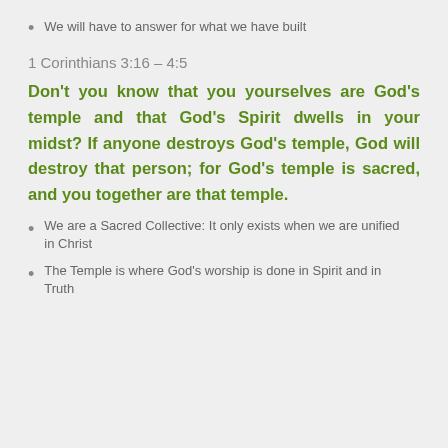We will have to answer for what we have built
1 Corinthians 3:16 – 4:5
Don't you know that you yourselves are God's temple and that God's Spirit dwells in your midst? If anyone destroys God's temple, God will destroy that person; for God's temple is sacred, and you together are that temple.
We are a Sacred Collective: It only exists when we are unified in Christ
The Temple is where God's worship is done in Spirit and in Truth